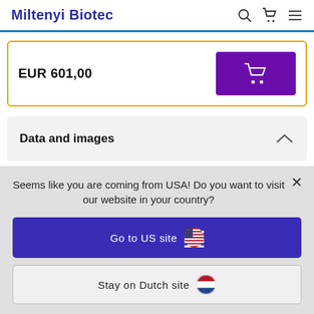Miltenyi Biotec
EUR 601,00
Data and images
Seems like you are coming from USA! Do you want to visit our website in your country?
Go to US site
Stay on Dutch site